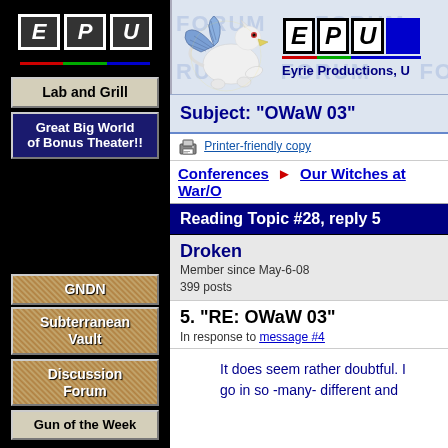[Figure (logo): EPU logo with three letter boxes E, P, U in italic bold white on dark background, with red, green, blue underlines]
Lab and Grill
Great Big World of Bonus Theater!!
GNDN
Subterranean Vault
Discussion Forum
Gun of the Week
[Figure (illustration): Griffin mascot illustration (white/grey griffin with blue wings) and EPU logo to its right]
Eyrie Productions, U
Subject: "OWaW 03"
Printer-friendly copy
Conferences ► Our Witches at War/O
Reading Topic #28, reply 5
Droken
Member since May-6-08
399 posts
5. "RE: OWaW 03"
In response to message #4
It does seem rather doubtful. I go in so -many- different and